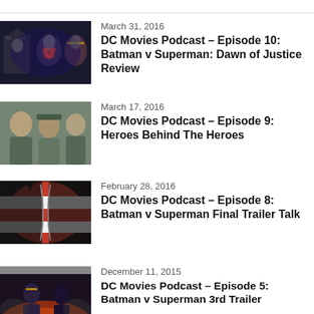March 31, 2016 – DC Movies Podcast – Episode 10: Batman v Superman: Dawn of Justice Review
March 17, 2016 – DC Movies Podcast – Episode 9: Heroes Behind The Heroes
February 28, 2016 – DC Movies Podcast – Episode 8: Batman v Superman Final Trailer Talk
December 11, 2015 – DC Movies Podcast – Episode 5: Batman v Superman 3rd Trailer...